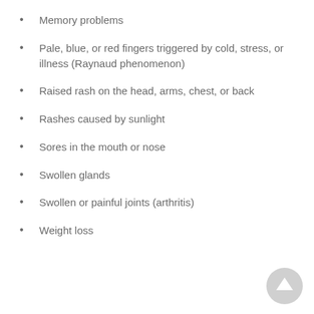Memory problems
Pale, blue, or red fingers triggered by cold, stress, or illness (Raynaud phenomenon)
Raised rash on the head, arms, chest, or back
Rashes caused by sunlight
Sores in the mouth or nose
Swollen glands
Swollen or painful joints (arthritis)
Weight loss